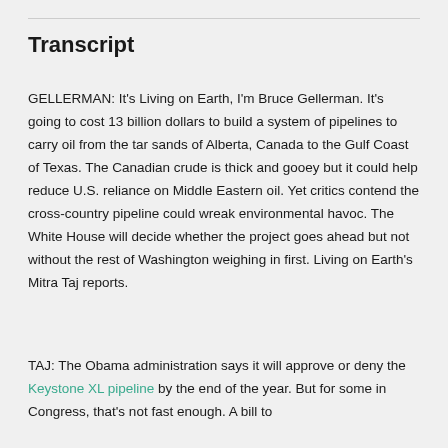Transcript
GELLERMAN: It's Living on Earth, I'm Bruce Gellerman. It's going to cost 13 billion dollars to build a system of pipelines to carry oil from the tar sands of Alberta, Canada to the Gulf Coast of Texas. The Canadian crude is thick and gooey but it could help reduce U.S. reliance on Middle Eastern oil. Yet critics contend the cross-country pipeline could wreak environmental havoc. The White House will decide whether the project goes ahead but not without the rest of Washington weighing in first. Living on Earth's Mitra Taj reports.
TAJ: The Obama administration says it will approve or deny the Keystone XL pipeline by the end of the year. But for some in Congress, that's not fast enough. A bill to